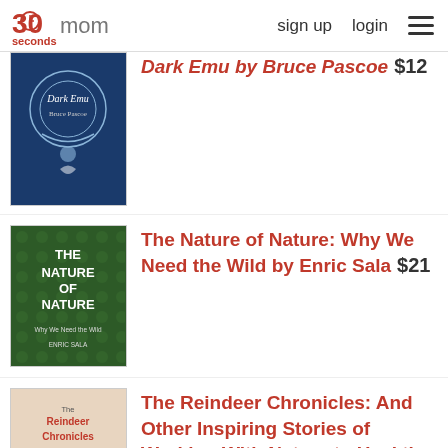30 seconds mom | sign up | login
Dark Emu by Bruce Pascoe  $12
The Nature of Nature: Why We Need the Wild by Enric Sala  $21
The Reindeer Chronicles: And Other Inspiring Stories of Working With Nature to Heal the Earth by Judith D. Schwartz  $18
Salmon: A Fish, the Earth and the